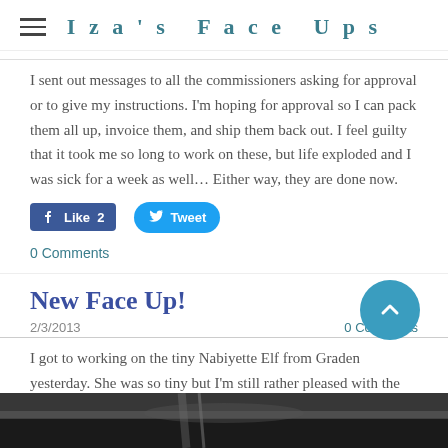Iza's Face Ups
I sent out messages to all the commissioners asking for approval or to give my instructions. I'm hoping for approval so I can pack them all up, invoice them, and ship them back out. I feel guilty that it took me so long to work on these, but life exploded and I was sick for a week as well... Either way, they are done now.
Like 2  Tweet
0 Comments
New Face Up!
2/3/2013
0 Comments
I got to working on the tiny Nabiyette Elf from Graden yesterday. She was so tiny but I'm still rather pleased with the end result.
[Figure (photo): Bottom strip showing a blurry photograph of art supplies, dark background with brush visible]